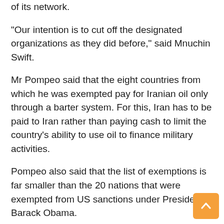of its network.
"Our intention is to cut off the designated organizations as they did before," said Mnuchin Swift.
Mr Pompeo said that the eight countries from which he was exempted pay for Iranian oil only through a barter system. For this, Iran has to be paid to Iran rather than paying cash to limit the country's ability to use oil to finance military activities.
Pompeo also said that the list of exemptions is far smaller than the 20 nations that were exempted from US sanctions under President Barack Obama.
Peace groups have imposed sanctions on "the White House's latest campaign as a war against Iran," Paul Kawika Martin said of peace-building.